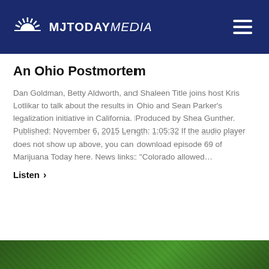MJTODAY MEDIA
An Ohio Postmortem
Dan Goldman, Betty Aldworth, and Shaleen Title joins host Kris Lotlikar to talk about the results in Ohio and Sean Parker’s legalization initiative in California. Produced by Shea Gunther. Published: November 6, 2015 Length: 1:05:32 If the audio player does not show up above, you can download episode 69 of Marijuana Today here. News links: “Colorado allowed…
Listen >
[Figure (photo): Green cannabis leaves visible at bottom of page]